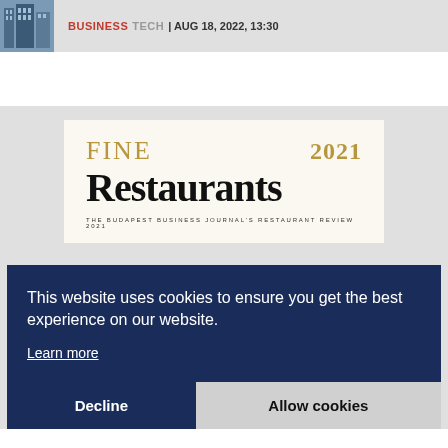BUSINESS TECH | AUG 18, 2022, 13:30
[Figure (logo): Fine Restaurants 2021 - The Budapest Business Journal's Restaurant Review 2021 logo]
This website uses cookies to ensure you get the best experience on our website.
Learn more
Decline | Allow cookies